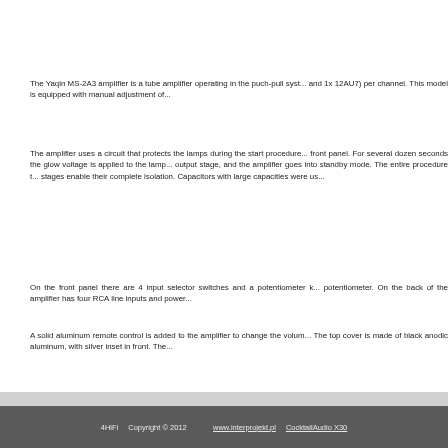The Yaqin MS-2A3 amplifier is a tube amplifier operating in the puch-pull syst... and 1x 12AU7) per channel. This model is equipped with manual adjustment of...
The amplifier uses a circuit that protects the lamps during the start procedure... front panel. For several dozen seconds the glow voltage is applied to the lamp... output stage, and the amplifier goes into standby mode. The entire procedure t... stages enable their complete isolation. Capacitors with large capacities were us...
On the front panel there are 4 input selector switches and a potentiometer k... potentiometer. On the back of the amplifier has four RCA line inputs and power...
A solid aluminum remote control is added to the amplifier to change the volum... The top cover is made of black anodic aluminum, with silver inset in front. The...
4HiFi   Copyright © 2012     www.interprojekt.pl   CocktailAudio X30